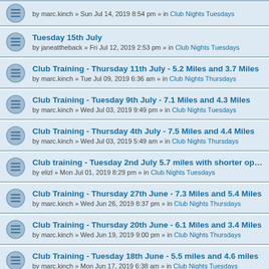Tuesday 15th July
by janeattheback » Fri Jul 12, 2019 2:53 pm » in Club Nights Tuesdays
Club Training - Thursday 11th July - 5.2 Miles and 3.7 Miles
by marc.kinch » Tue Jul 09, 2019 6:36 am » in Club Nights Thursdays
Club Training - Tuesday 9th July - 7.1 Miles and 4.3 Miles
by marc.kinch » Wed Jul 03, 2019 9:49 pm » in Club Nights Tuesdays
Club Training - Thursday 4th July - 7.5 Miles and 4.4 Miles
by marc.kinch » Wed Jul 03, 2019 5:49 am » in Club Nights Thursdays
Club training - Tuesday 2nd July 5.7 miles with shorter option
by elizl » Mon Jul 01, 2019 8:29 pm » in Club Nights Tuesdays
Club Training - Thursday 27th June - 7.3 Miles and 5.4 Miles
by marc.kinch » Wed Jun 26, 2019 8:37 pm » in Club Nights Thursdays
Club Training - Thursday 20th June - 6.1 Miles and 3.4 Miles
by marc.kinch » Wed Jun 19, 2019 9:00 pm » in Club Nights Thursdays
Club Training - Tuesday 18th June - 5.5 miles and 4.6 miles
by marc.kinch » Mon Jun 17, 2019 6:38 am » in Club Nights Tuesdays
Club Training - Thursday 13th June - 6.6 miles and 3.7 miles
by marc.kinch » Wed Jun 12, 2019 6:44 am » in Club Nights Thursdays
Club Training - Tuesday 11th June - 5 miles and 4 miles
by marc.kinch » Mon Jun 10, 2019 9:20 pm » in Club Nights Tuesdays
Club Training - Thursday 6th June - 7.7 Miles and 3.7 Miles
(partial, cut off)